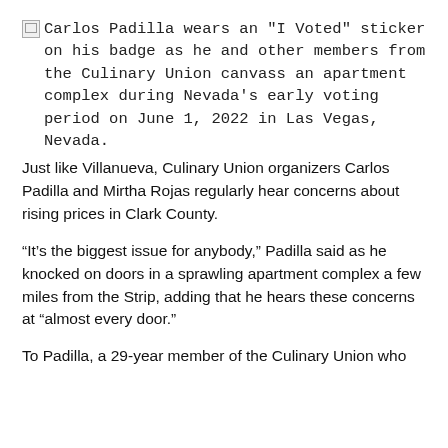Carlos Padilla wears an "I Voted" sticker on his badge as he and other members from the Culinary Union canvass an apartment complex during Nevada's early voting period on June 1, 2022 in Las Vegas, Nevada.
Just like Villanueva, Culinary Union organizers Carlos Padilla and Mirtha Rojas regularly hear concerns about rising prices in Clark County.
“It’s the biggest issue for anybody,” Padilla said as he knocked on doors in a sprawling apartment complex a few miles from the Strip, adding that he hears these concerns at “almost every door.”
To Padilla, a 29-year member of the Culinary Union who